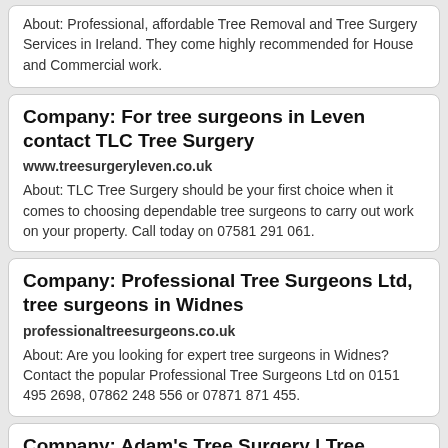About: Professional, affordable Tree Removal and Tree Surgery Services in Ireland. They come highly recommended for House and Commercial work.
Company: For tree surgeons in Leven contact TLC Tree Surgery
www.treesurgeryleven.co.uk
About: TLC Tree Surgery should be your first choice when it comes to choosing dependable tree surgeons to carry out work on your property. Call today on 07581 291 061.
Company: Professional Tree Surgeons Ltd, tree surgeons in Widnes
professionaltreesurgeons.co.uk
About: Are you looking for expert tree surgeons in Widnes? Contact the popular Professional Tree Surgeons Ltd on 0151 495 2698, 07862 248 556 or 07871 871 455.
Company: Adam's Tree Surgery | Tree Surgeon Solihull
www.adamstreesurgery.biz
Company: Stockport Tree Services – 0845